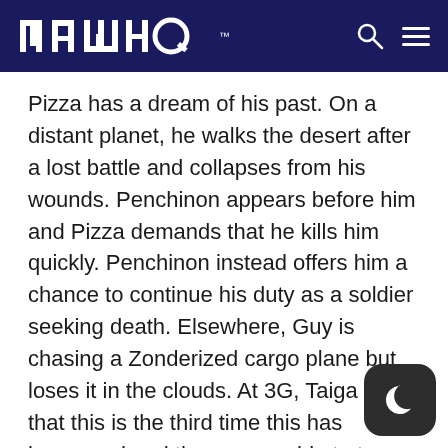MAHQ
Pizza has a dream of his past. On a distant planet, he walks the desert after a lost battle and collapses from his wounds. Penchinon appears before him and Pizza demands that he kills him quickly. Penchinon instead offers him a chance to continue his duty as a soldier seeking death. Elsewhere, Guy is chasing a Zonderized cargo plane but loses it in the clouds. At 3G, Taiga says that this is the third time this has happened and they are unable to trace the plane’s location. Mamoru and his friends ride a cable car up a mountain, with Sunou’s attempts to show off getting repeatedly trounced by Reiko. Suddenly a deep fog surrounds the cable car and Mamoru glows. They arrive at the top to find the station empty and none of their communication devices